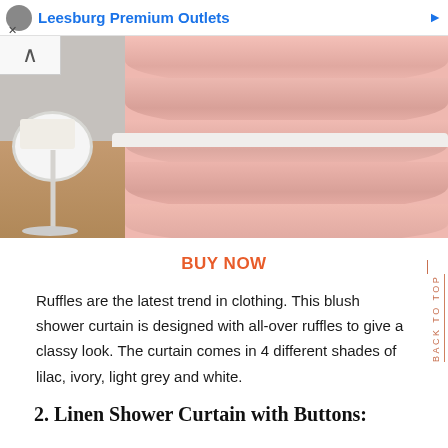Leesburg Premium Outlets
[Figure (photo): Blush pink ruffled shower curtain on a bathtub with a white side table in a bathroom setting]
BUY NOW
Ruffles are the latest trend in clothing. This blush shower curtain is designed with all-over ruffles to give a classy look. The curtain comes in 4 different shades of lilac, ivory, light grey and white.
2. Linen Shower Curtain with Buttons: